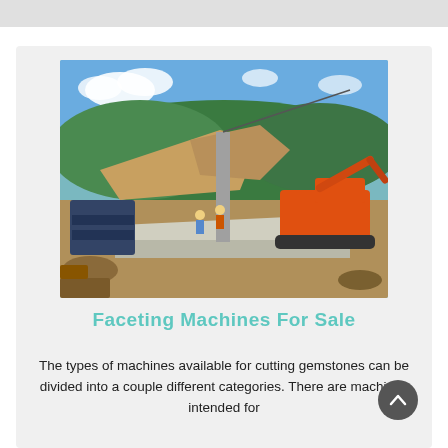[Figure (photo): Outdoor mining or construction site with an orange excavator/crane on the right, a concrete foundation or platform in the foreground, workers visible, hilly forested terrain with exposed earth in the background, blue sky with clouds.]
Faceting Machines For Sale
The types of machines available for cutting gemstones can be divided into a couple different categories. There are machines intended for